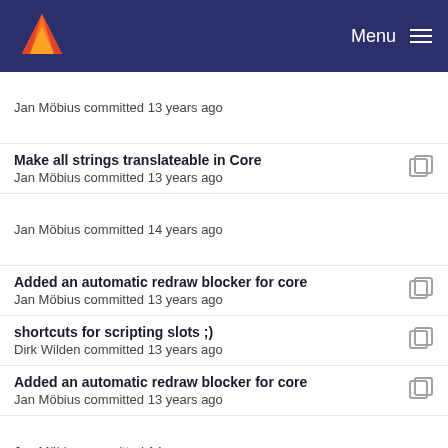Menu
Jan Möbius committed 13 years ago
Make all strings translateable in Core
Jan Möbius committed 13 years ago
Jan Möbius committed 14 years ago
Added an automatic redraw blocker for core
Jan Möbius committed 13 years ago
shortcuts for scripting slots ;)
Dirk Wilden committed 13 years ago
Added an automatic redraw blocker for core
Jan Möbius committed 13 years ago
Jan Möbius committed 14 years ago
fixed and cleaned up saveFunctions
Dirk Wilden committed 13 years ago